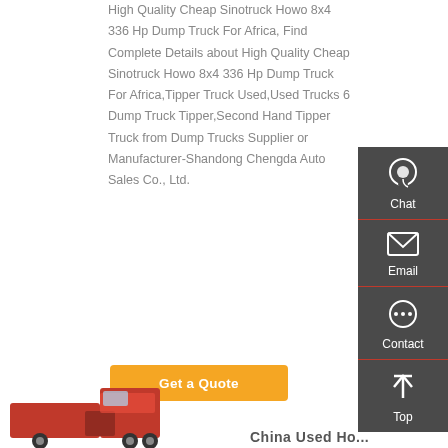High Quality Cheap Sinotruck Howo 8x4 336 Hp Dump Truck For Africa, Find Complete Details about High Quality Cheap Sinotruck Howo 8x4 336 Hp Dump Truck For Africa,Tipper Truck Used,Used Trucks 6 Dump Truck Tipper,Second Hand Tipper Truck from Dump Trucks Supplier or Manufacturer-Shandong Chengda Auto Sales Co., Ltd.
[Figure (other): Sidebar panel with dark background showing Chat, Email, Contact, and Top navigation icons]
[Figure (photo): Partial image of a red dump truck at bottom left]
China Used Ho...